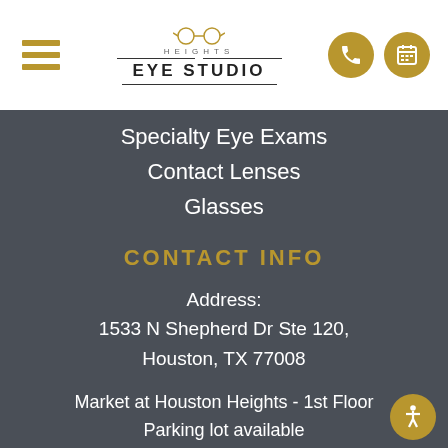Heights Eye Studio — Navigation header with hamburger menu, logo, phone and calendar icons
Specialty Eye Exams
Contact Lenses
Glasses
CONTACT INFO
Address:
1533 N Shepherd Dr Ste 120,
Houston, TX 77008
Market at Houston Heights - 1st Floor
Parking lot available